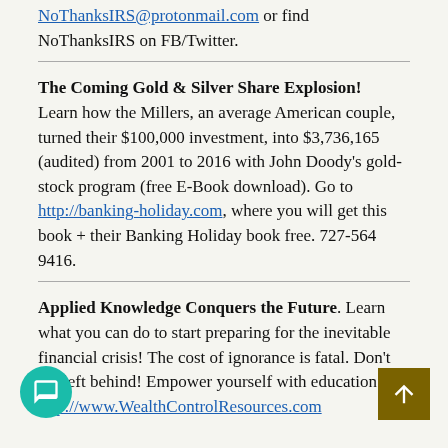NoThanksIRS@protonmail.com or find NoThanksIRS on FB/Twitter.
The Coming Gold & Silver Share Explosion! Learn how the Millers, an average American couple, turned their $100,000 investment, into $3,736,165 (audited) from 2001 to 2016 with John Doody's gold-stock program (free E-Book download). Go to http://banking-holiday.com, where you will get this book + their Banking Holiday book free. 727-564 9416.
Applied Knowledge Conquers the Future. Learn what you can do to start preparing for the inevitable financial crisis! The cost of ignorance is fatal. Don't get left behind! Empower yourself with education! http://www.WealthControlResources.com